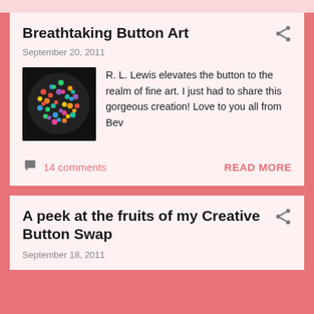Breathtaking Button Art
September 20, 2011
[Figure (photo): A sphere made of colorful buttons arranged together on a black background — button art by R. L. Lewis]
R. L. Lewis elevates the button to the realm of fine art. I just had to share this gorgeous creation! Love to you all from Bev
14 comments
READ MORE
A peek at the fruits of my Creative Button Swap
September 18, 2011